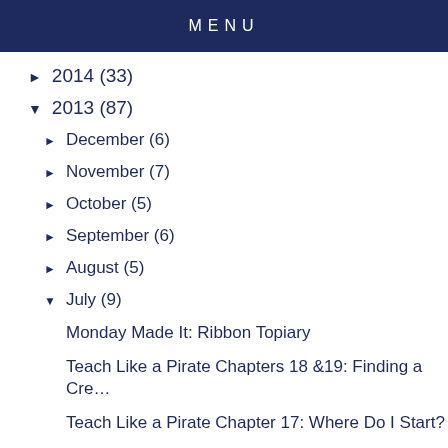MENU
2014 (33)
2013 (87)
December (6)
November (7)
October (5)
September (6)
August (5)
July (9)
Monday Made It: Ribbon Topiary
Teach Like a Pirate Chapters 18 &19: Finding a Cre…
Teach Like a Pirate Chapter 17: Where Do I Start?
Teach Like a Pirate Chapter 16: The Awkward Question
Teach Like a Pirate Chapter 15: Around the Edges
Teach Like a Pirate Chapter 14: Advanced Tactics